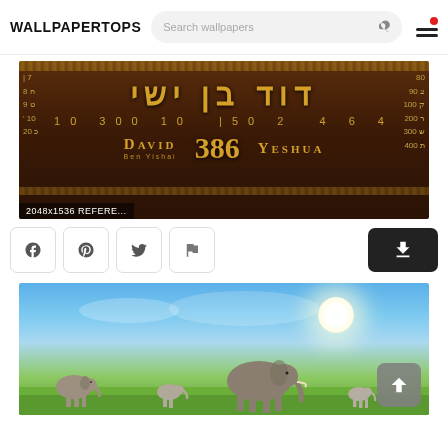WALLPAPERTOPS — Search wallpapers
[Figure (photo): Hebrew text wallpaper showing 'David Ben Yishai' and 'Yeshua' with numerical values 10 300 10 50 2 4 6 4 and 386, decorative brown background with side numerology numbers 7,8,9,10,20,80,90,100,200,300,400. Caption: 2048x1536 REFERE...]
2048x1536 REFERE...
[Figure (photo): Elephants walking on green savanna under blue sky with bright sun]